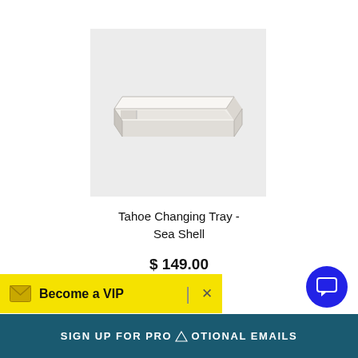[Figure (photo): White rectangular Tahoe Changing Tray with a small divider section on the left side, photographed on a light gray background.]
Tahoe Changing Tray - Sea Shell
$ 149.00
Become a VIP
SIGN UP FOR PROMOTIONAL EMAILS